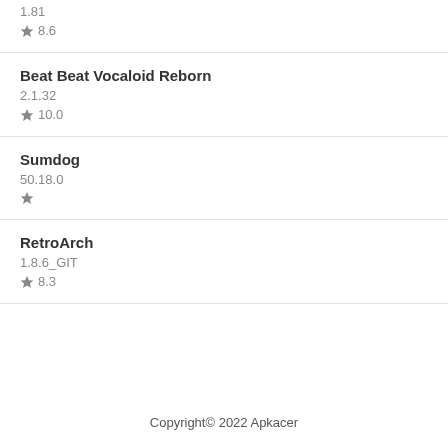1.81
★ 8.6
Beat Beat Vocaloid Reborn
2.1.32
★ 10.0
Sumdog
50.18.0
★
RetroArch
1.8.6_GIT
★ 8.3
Copyright© 2022 Apkacer